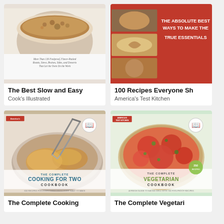[Figure (photo): Book cover: The Best Slow and Easy - Cook's Illustrated, showing a baked casserole dish]
The Best Slow and Easy
Cook's Illustrated
[Figure (photo): Book cover: 100 Recipes Everyone Should Know - America's Test Kitchen, red cover with food photos]
100 Recipes Everyone Sh…
America's Test Kitchen
[Figure (photo): Book cover: The Complete Cooking for Two Cookbook - America's Test Kitchen, showing chicken in a pan with tongs]
The Complete Cooking…
[Figure (photo): Book cover: The Complete Vegetarian Cookbook - America's Test Kitchen, showing a vegetable tart]